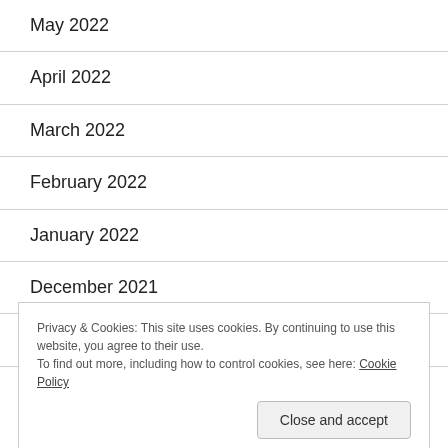May 2022
April 2022
March 2022
February 2022
January 2022
December 2021
November 2021
Privacy & Cookies: This site uses cookies. By continuing to use this website, you agree to their use.
To find out more, including how to control cookies, see here: Cookie Policy
Close and accept